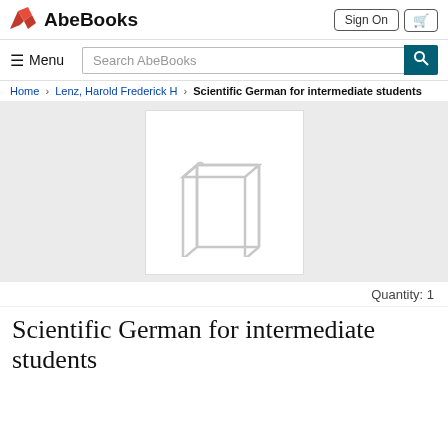AbeBooks
Sign On
Home > Lenz, Harold Frederick H > Scientific German for intermediate students
[Figure (illustration): Placeholder book cover image showing an outline/wireframe of a book on a grey background]
Quantity: 1
Scientific German for intermediate students